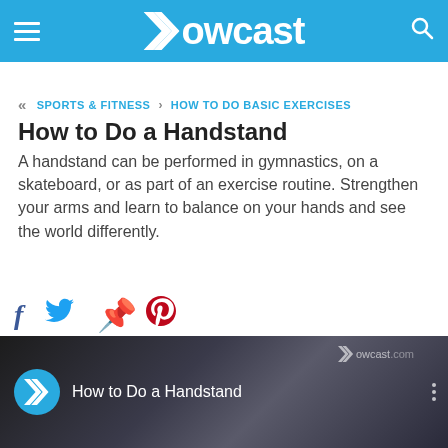Howcast
« SPORTS & FITNESS › HOW TO DO BASIC EXERCISES
How to Do a Handstand
A handstand can be performed in gymnastics, on a skateboard, or as part of an exercise routine. Strengthen your arms and learn to balance on your hands and see the world differently.
[Figure (screenshot): Social sharing icons: Facebook (f), Twitter (bird), Pinterest (P)]
[Figure (screenshot): Video thumbnail showing 'How to Do a Handstand' with Howcast logo circle and howcast.com watermark on dark background]